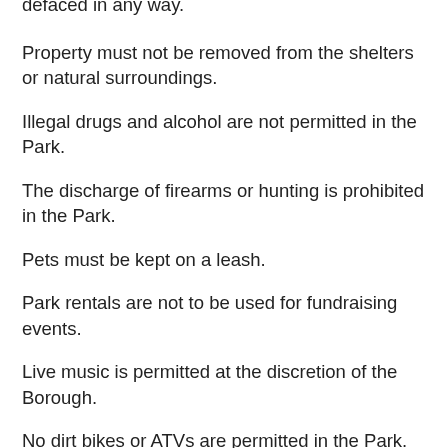defaced in any way.
Property must not be removed from the shelters or natural surroundings.
Illegal drugs and alcohol are not permitted in the Park.
The discharge of firearms or hunting is prohibited in the Park.
Pets must be kept on a leash.
Park rentals are not to be used for fundraising events.
Live music is permitted at the discretion of the Borough.
No dirt bikes or ATVs are permitted in the Park.
Open fires are permitted in designated areas only.